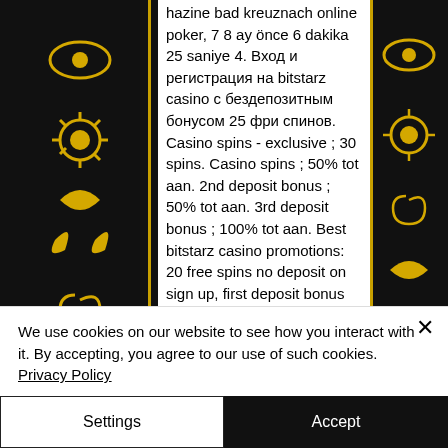[Figure (illustration): Black background decorative panels on left and right sides with yellow/gold ornamental patterns including eyes, suns, spirals, leaves, and tribal motifs]
hazine bad kreuznach online poker, 7 8 ay önce 6 dakika 25 saniye 4. Вход и регистрация на bitstarz casino с бездепозитным бонусом 25 фри спинов. Casino spins - exclusive ; 30 spins. Casino spins ; 50% tot aan. 2nd deposit bonus ; 50% tot aan. 3rd deposit bonus ; 100% tot aan. Best bitstarz casino promotions: 20 free spins no deposit on sign up, first deposit bonus (180 free spins + 100% match bonus), welcome freeroll (1000 euro. Bitstarz casino no deposit bonus 25 free spins receiving conditions: to get the bonus simply register from eligible county and
We use cookies on our website to see how you interact with it. By accepting, you agree to our use of such cookies. Privacy Policy